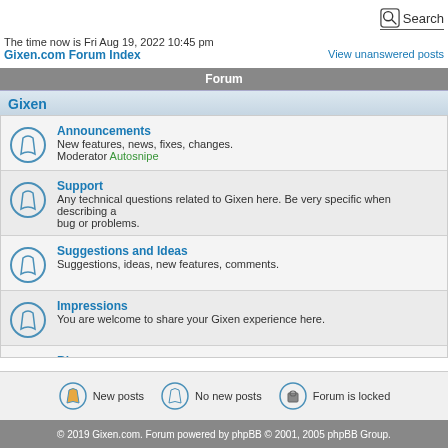Search
The time now is Fri Aug 19, 2022 10:45 pm
Gixen.com Forum Index
View unanswered posts
Forum
Gixen
Announcements
New features, news, fixes, changes.
Moderator Autosnipe
Support
Any technical questions related to Gixen here. Be very specific when describing a bug or problems.
Suggestions and Ideas
Suggestions, ideas, new features, comments.
Impressions
You are welcome to share your Gixen experience here.
Blog
Mario's Gixen Blog for Gixen enthusiasts. Read & post your comments.
All times are GMT - 8 Hours
New posts    No new posts    Forum is locked
© 2019 Gixen.com. Forum powered by phpBB © 2001, 2005 phpBB Group.